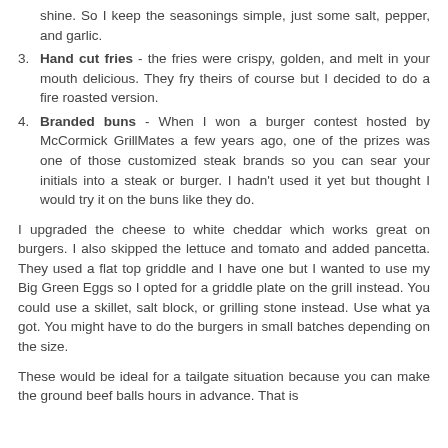shine.  So I keep the seasonings simple, just some salt, pepper, and garlic.
Hand cut fries - the fries were crispy, golden, and melt in your mouth delicious.  They fry theirs of course but I decided to do a fire roasted version.
Branded buns - When I won a burger contest hosted by McCormick GrillMates a few years ago, one of the prizes was one of those customized steak brands so you can sear your initials into a steak or burger.  I hadn't used it yet but thought I would try it on the buns like they do.
I upgraded the cheese to white cheddar which works great on burgers. I also skipped the lettuce and tomato and added pancetta. They used a flat top griddle and I have one but I wanted to use my Big Green Eggs so I opted for a griddle plate on the grill instead.  You could use a skillet, salt block, or grilling stone instead.  Use what ya got.  You might have to do the burgers in small batches depending on the size.
These would be ideal for a tailgate situation because you can make the ground beef balls hours in  advance.  That is